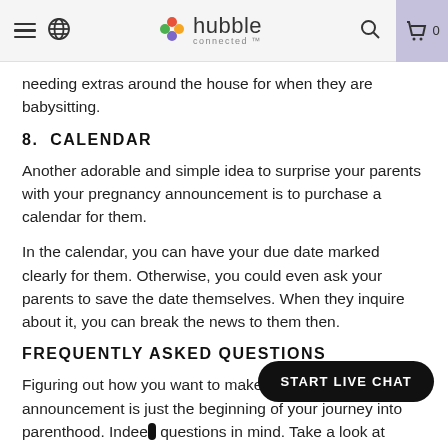hubble connected — navigation bar with hamburger menu, globe icon, search, and cart (0)
needing extras around the house for when they are babysitting.
8. CALENDAR
Another adorable and simple idea to surprise your parents with your pregnancy announcement is to purchase a calendar for them.
In the calendar, you can have your due date marked clearly for them. Otherwise, you could even ask your parents to save the date themselves. When they inquire about it, you can break the news to them then.
FREQUENTLY ASKED QUESTIONS
Figuring out how you want to make your pregnancy announcement is just the beginning of your journey into parenthood. Indee... questions in mind. Take a look at some frequently asked